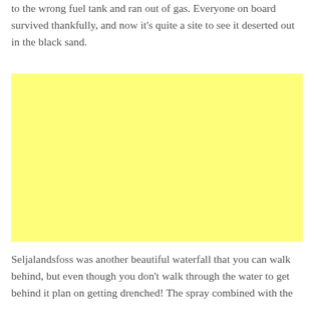to the wrong fuel tank and ran out of gas. Everyone on board survived thankfully, and now it's quite a site to see it deserted out in the black sand.
[Figure (photo): A large yellow rectangle representing a placeholder image, likely a photograph of a landscape scene related to Iceland travel.]
Seljalandsfoss was another beautiful waterfall that you can walk behind, but even though you don't walk through the water to get behind it plan on getting drenched! The spray combined with the